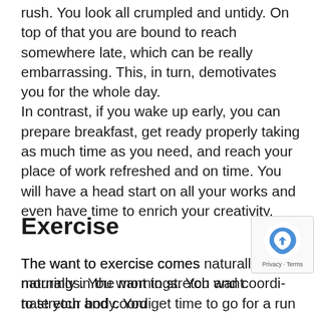rush. You look all crumpled and untidy. On top of that you are bound to reach somewhere late, which can be really embarrassing. This, in turn, demotivates you for the whole day.
In contrast, if you wake up early, you can prepare breakfast, get ready properly taking as much time as you need, and reach your place of work refreshed and on time. You will have a head start on all your works and even have time to enrich your creativity.
Exercise
The want to exercise comes naturally in the mornings. You want to stretch and coordinate your body. You get time to go for a run or a brisk walk that keeps you energetic and you